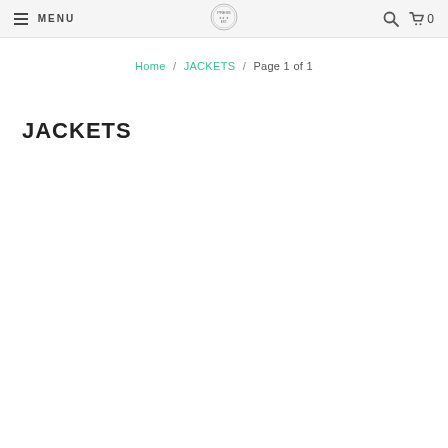MENU | [logo] | [search] | [cart] 0
Home / JACKETS / Page 1 of 1
JACKETS